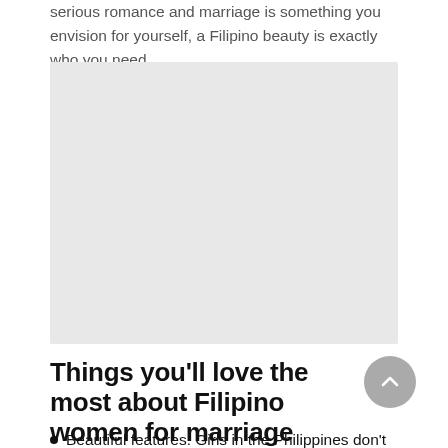serious romance and marriage is something you envision for yourself, a Filipino beauty is exactly who you need.
[Figure (photo): Large image placeholder with light gray background]
Things you'll love the most about Filipino women for marriage
Beautiful features. Girls in the Philippines don't look like